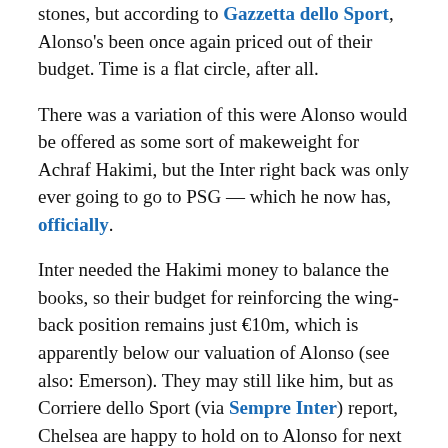stones, but according to Gazzetta dello Sport, Alonso's been once again priced out of their budget. Time is a flat circle, after all.
There was a variation of this were Alonso would be offered as some sort of makeweight for Achraf Hakimi, but the Inter right back was only ever going to go to PSG — which he now has, officially.
Inter needed the Hakimi money to balance the books, so their budget for reinforcing the wing-back position remains just €10m, which is apparently below our valuation of Alonso (see also: Emerson). They may still like him, but as Corriere dello Sport (via Sempre Inter) report, Chelsea are happy to hold on to Alonso for next season as well, and he himself isn't too keen on a paycut either with two years still left on his contract.